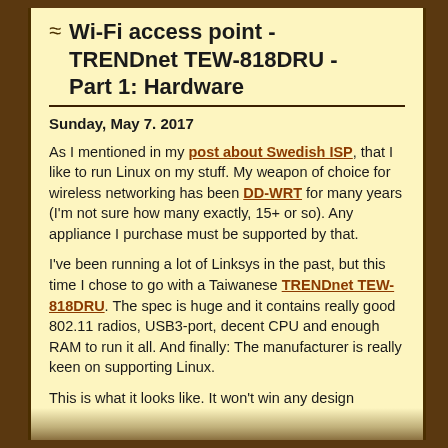Wi-Fi access point - TRENDnet TEW-818DRU - Part 1: Hardware
Sunday, May 7. 2017
As I mentioned in my post about Swedish ISP, that I like to run Linux on my stuff. My weapon of choice for wireless networking has been DD-WRT for many years (I'm not sure how many exactly, 15+ or so). Any appliance I purchase must be supported by that.
I've been running a lot of Linksys in the past, but this time I chose to go with a Taiwanese TRENDnet TEW-818DRU. The spec is huge and it contains really good 802.11 radios, USB3-port, decent CPU and enough RAM to run it all. And finally: The manufacturer is really keen on supporting Linux.
This is what it looks like. It won't win any design awards, as obviously some software engineer designed the plastic case:
[Figure (photo): Photo of TRENDnet TEW-818DRU router hardware (partially visible at bottom of page)]